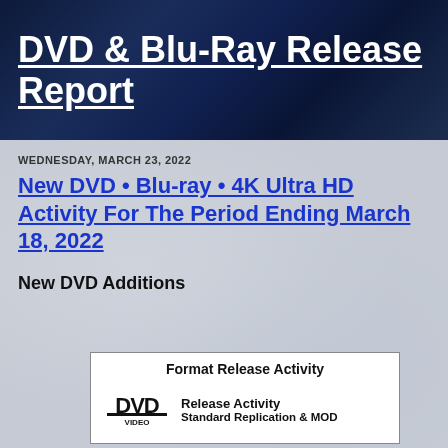DVD & Blu-Ray Release Report
WEDNESDAY, MARCH 23, 2022
New DVD • Blu-ray • 4K Ultra HD Activity For The Period Ending March 18, 2022
New DVD Additions
| Format Release Activity |
| --- |
| DVD VIDEO logo | Release Activity
Standard Replication & MOD |